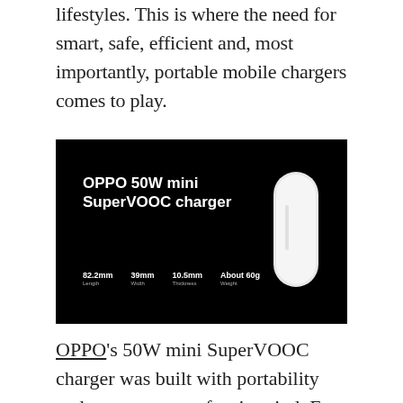lifestyles. This is where the need for smart, safe, efficient and, most importantly, portable mobile chargers comes to play.
[Figure (photo): Black background product image showing the OPPO 50W mini SuperVOOC charger with specifications: 82.2mm Length, 39mm Width, 10.5mm Thickness, About 60g Weight. A white pill-shaped charger device is shown on the right side.]
OPPO's 50W mini SuperVOOC charger was built with portability and consumer comfort in mind. For consumers who are always on the go...